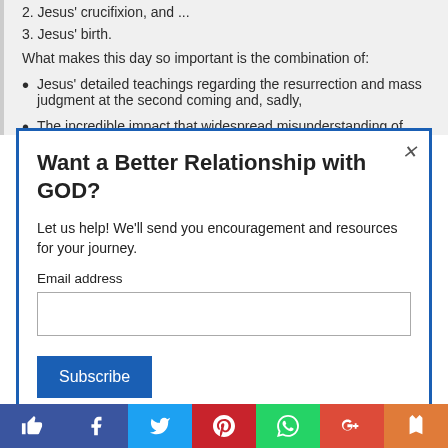2. Jesus' crucifixion, and ...
3. Jesus' birth.
What makes this day so important is the combination of:
Jesus' detailed teachings regarding the resurrection and mass judgment at the second coming and, sadly,
The incredible impact that widespread misunderstanding of
Want a Better Relationship with GOD?
Let us help! We'll send you encouragement and resources for your journey.
Email address
Subscribe